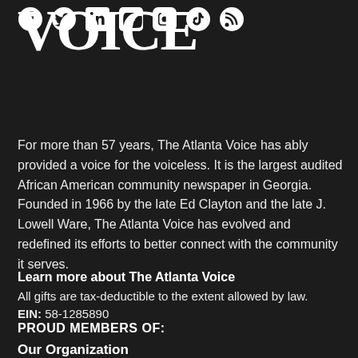VOICE
[Figure (infographic): Social media icons row: Facebook, Twitter, LinkedIn, YouTube, Instagram, TikTok, RSS]
For more than 57 years, The Atlanta Voice has ably provided a voice for the voiceless. It is the largest audited African American community newspaper in Georgia. Founded in 1966 by the late Ed Clayton and the late J. Lowell Ware, The Atlanta Voice has evolved and redefined its efforts to better connect with the community it serves.
Learn more about The Atlanta Voice
All gifts are tax-deductible to the extent allowed by law.
EIN: 58-1285890
PROUD MEMBERS OF:
Our Organization